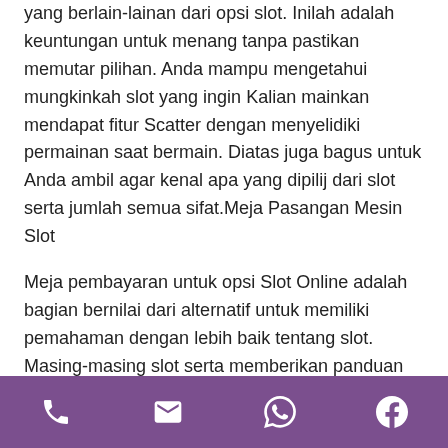yang berlain-lainan dari opsi slot. Inilah adalah keuntungan untuk menang tanpa pastikan memutar pilihan. Anda mampu mengetahui mungkinkah slot yang ingin Kalian mainkan mendapat fitur Scatter dengan menyelidiki permainan saat bermain. Diatas juga bagus untuk Anda ambil agar kenal apa yang dipilij dari slot serta jumlah semua sifat.Meja Pasangan Mesin Slot
Meja pembayaran untuk opsi Slot Online adalah bagian bernilai dari alternatif untuk memiliki pemahaman dengan lebih baik tentang slot. Masing-masing slot serta memberikan panduan tentang kolom pembayaran dari pembayaran masing-masing baris. Untuk Anda mampu menang penuh, sebaiknya Kamu memiliki keahlian menyeluruh mengenai slot, rahasia fungsinya
phone | email | whatsapp | facebook